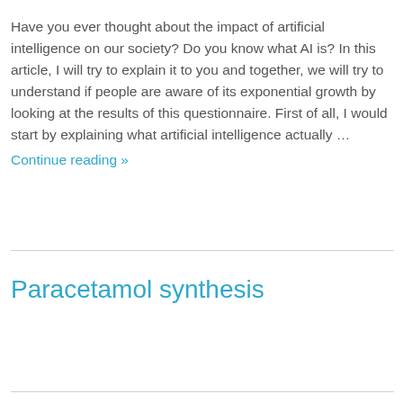Have you ever thought about the impact of artificial intelligence on our society? Do you know what AI is? In this article, I will try to explain it to you and together, we will try to understand if people are aware of its exponential growth by looking at the results of this questionnaire. First of all, I would start by explaining what artificial intelligence actually … Continue reading »
Paracetamol synthesis